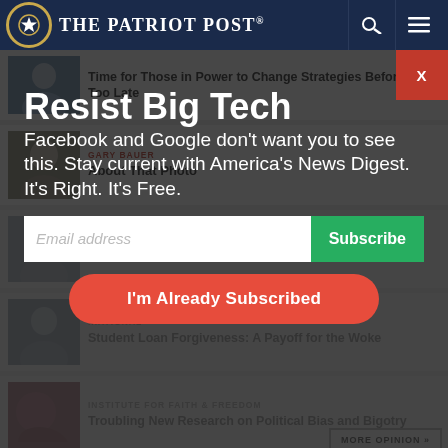The Patriot Post
Time for Those in Power to Change Strategies Before It's Too Late
GARY BAUER
About That Photo
DAVID B...
Who Are You Calling a Fascist, Mr. President?
...ATIONAL
Student Loan Forgiveness: A Payoff for the Woke
INSTITUTE FOR FAITH & FREEDOM
Troubling New Research on Political Bias and Bigotry
Resist Big Tech
Facebook and Google don't want you to see this. Stay current with America's News Digest. It's Right. It's Free.
Email address
Subscribe
I'm Already Subscribed
MORE OPINION »